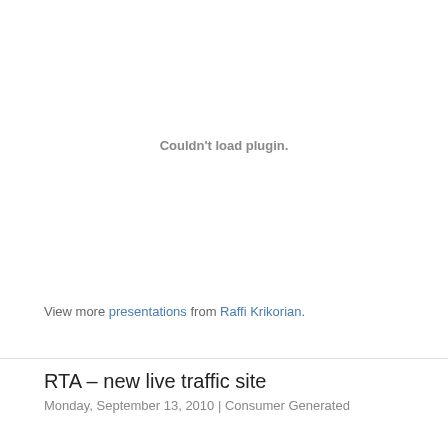[Figure (other): Embedded plugin area showing 'Couldn't load plugin.' error message]
View more presentations from Raffi Krikorian.
RTA – new live traffic site
Monday, September 13, 2010 | Consumer Generated